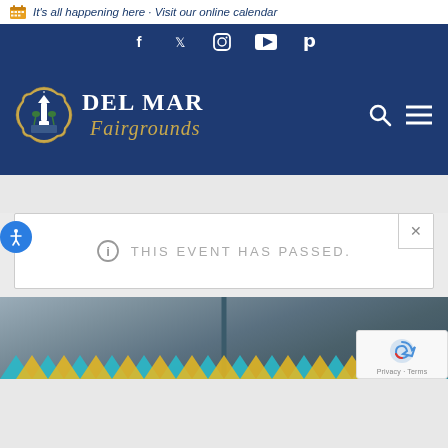It's all happening here · Visit our online calendar
[Figure (screenshot): Social media icons: Facebook, Twitter, Instagram, YouTube, Pinterest on dark blue background]
[Figure (logo): Del Mar Fairgrounds logo with lighthouse badge and italic script text]
THIS EVENT HAS PASSED.
[Figure (photo): Blurred outdoor event photo with colorful chevron decorations at bottom]